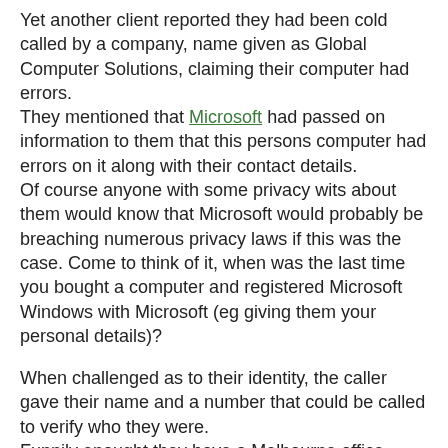Yet another client reported they had been cold called by a company, name given as Global Computer Solutions, claiming their computer had errors.
They mentioned that Microsoft had passed on information to them that this persons computer had errors on it along with their contact details.
Of course anyone with some privacy wits about them would know that Microsoft would probably be breaching numerous privacy laws if this was the case. Come to think of it, when was the last time you bought a computer and registered Microsoft Windows with Microsoft (eg giving them your personal details)?
When challenged as to their identity, the caller gave their name and a number that could be called to verify who they were.
Funnily enought they have a Melbourne office.
Well, not really, they just have a Melbourne number: 03 99169454 which I assume is to redirect the latest divine...